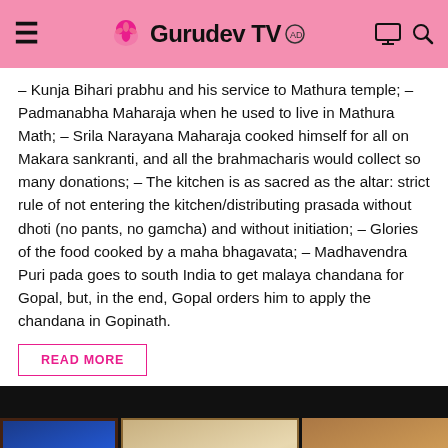Gurudev TV
– Kunja Bihari prabhu and his service to Mathura temple; – Padmanabha Maharaja when he used to live in Mathura Math; – Srila Narayana Maharaja cooked himself for all on Makara sankranti, and all the brahmacharis would collect so many donations; – The kitchen is as sacred as the altar: strict rule of not entering the kitchen/distributing prasada without dhoti (no pants, no gamcha) and without initiation; – Glories of the food cooked by a maha bhagavata; – Madhavendra Puri pada goes to south India to get malaya chandana for Gopal, but, in the end, Gopal orders him to apply the chandana in Gopinath.
READ MORE
[Figure (photo): Religious paintings displayed together — a blue Krishna painting on the left, a painting of devotees with raised arms in the center, and an orange/brown painted surface on the right, against a dark background.]